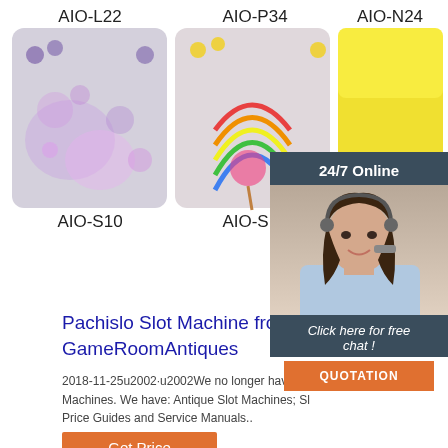[Figure (photo): Three baby diapers labeled AIO-L22 (purple/watercolor pattern), AIO-P34 (rainbow/colorful pattern), AIO-N24 (yellow) with bottom labels AIO-S10, AIO-S19, AIO]
[Figure (photo): Sidebar with '24/7 Online' header, photo of woman with headset, 'Click here for free chat!' text and orange QUOTATION button]
Pachislo Slot Machine from Japan - GameRoomAntiques
2018-11-25u2002·u2002We no longer have Pa... Machines. We have: Antique Slot Machines; Sl... Price Guides and Service Manuals..
Get Price